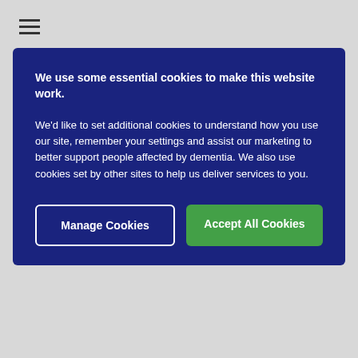We use some essential cookies to make this website work.

We'd like to set additional cookies to understand how you use our site, remember your settings and assist our marketing to better support people affected by dementia. We also use cookies set by other sites to help us deliver services to you.
Manage Cookies
Accept All Cookies
Volunteer Moderator
Jun 11, 2022
#20
@ChloeJ has stared her own thread here -
I care for someone with dementia
Hello I'm Chloe I'm 21 and I care for my dad who has recently been